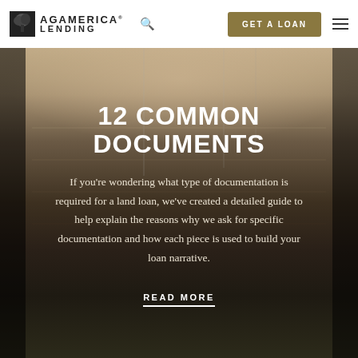[Figure (logo): AgAmerica Lending logo with tree icon and text]
GET A LOAN
[Figure (photo): Misty rural farmland landscape photo used as hero background]
12 COMMON DOCUMENTS
If you're wondering what type of documentation is required for a land loan, we've created a detailed guide to help explain the reasons why we ask for specific documentation and how each piece is used to build your loan narrative.
READ MORE